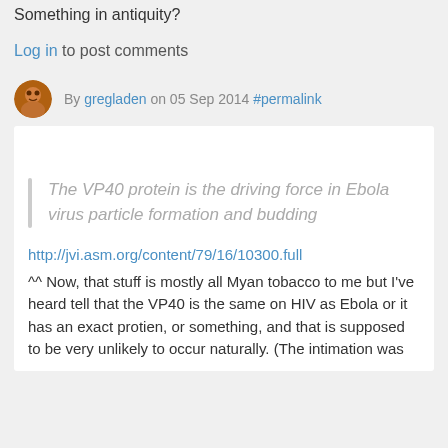Something in antiquity?
Log in to post comments
By gregladen on 05 Sep 2014 #permalink
The VP40 protein is the driving force in Ebola virus particle formation and budding
http://jvi.asm.org/content/79/16/10300.full
^^ Now, that stuff is mostly all Myan tobacco to me but I've heard tell that the VP40 is the same on HIV as Ebola or it has an exact protien, or something, and that is supposed to be very unlikely to occur naturally. (The intimation was